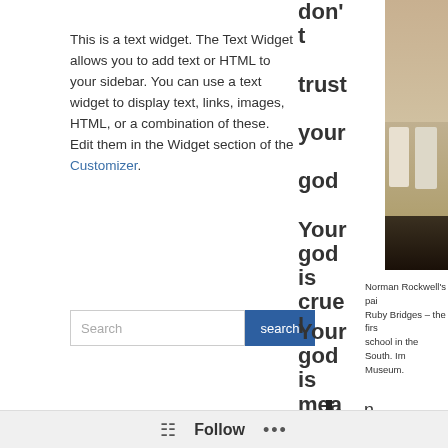This is a text widget. The Text Widget allows you to add text or HTML to your sidebar. You can use a text widget to display text, links, images, HTML, or a combination of these. Edit them in the Widget section of the Customizer.
Search [search button]
don't trust your god
Your god is cruel
Your god is mean
[Figure (photo): Norman Rockwell painting of Ruby Bridges – the first school in the South. Image from Museum.]
Norman Rockwell's painting Ruby Bridges – the first school in the South. Image Museum.
n
Your god allowed gene
Follow ...